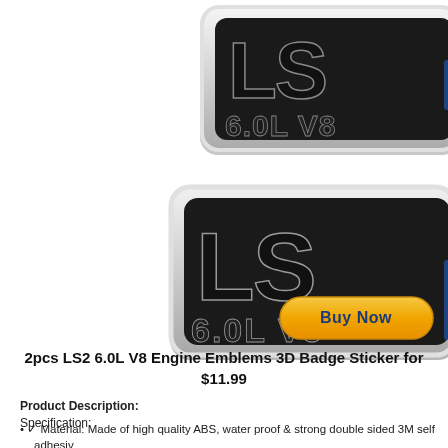[Figure (photo): Two LS2 6.0L V8 Engine Emblems 3D Badge Stickers shown side by side, chrome and black finish, showing 'LS' large lettering above '6.0L V8' text]
[Figure (other): Buy Now button (PayPal style, gold/orange gradient oval button with 'Buy Now' text in dark blue)]
2pcs LS2 6.0L V8 Engine Emblems 3D Badge Sticker for $11.99
Product Description:
Specification:
✓ Material: Made of high quality ABS, water proof & strong double sided 3M self adhesiv
✓ Product size - 2Pcs LS2 6.0L V8 emblems, about 5 inch in length * 1.3 inch in height, c Saab Cadillac